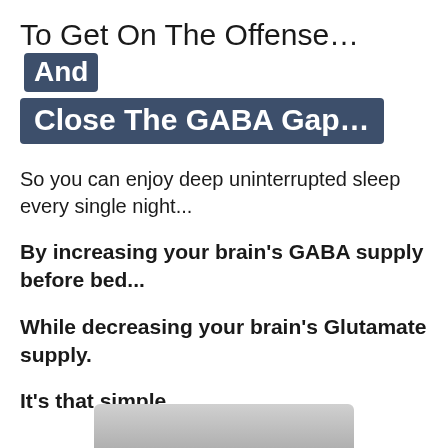To Get On The Offense... And Close The GABA Gap...
So you can enjoy deep uninterrupted sleep every single night...
By increasing your brain's GABA supply before bed...
While decreasing your brain's Glutamate supply.
It's that simple.
[Figure (photo): Partially visible photo at bottom of page]